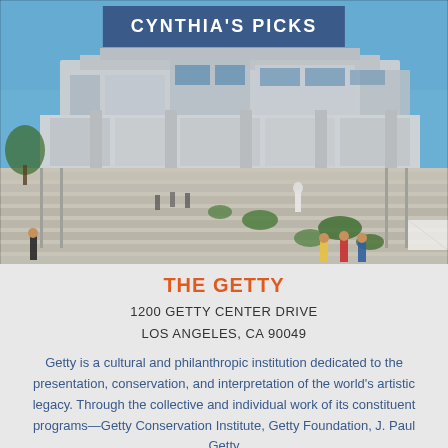CYNTHIA'S PICKS
[Figure (photo): Exterior photo of the Getty Center museum in Los Angeles showing the modern travertine building with wide steps, visitors walking, and blue sky background]
THE GETTY
1200 GETTY CENTER DRIVE
LOS ANGELES, CA 90049
Getty is a cultural and philanthropic institution dedicated to the presentation, conservation, and interpretation of the world's artistic legacy. Through the collective and individual work of its constituent programs—Getty Conservation Institute, Getty Foundation, J. Paul Getty